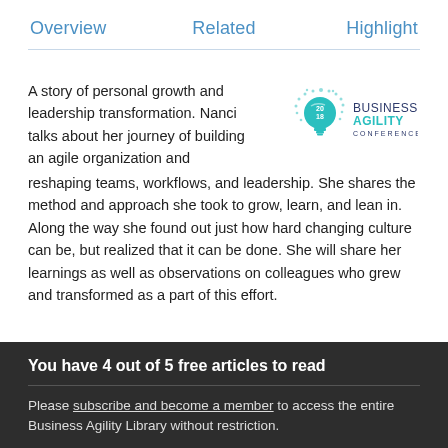Overview   Related   Highlight
A story of personal growth and leadership transformation. Nanci talks about her journey of building an agile organization and reshaping teams, workflows, and leadership. She shares the method and approach she took to grow, learn, and lean in. Along the way she found out just how hard changing culture can be, but realized that it can be done. She will share her learnings as well as observations on colleagues who grew and transformed as a part of this effort.
[Figure (logo): Business Agility Conference 2018 logo with a lightbulb icon made of dots and text 'BUSINESS AGILITY CONFERENCE']
You have 4 out of 5 free articles to read
Please subscribe and become a member to access the entire Business Agility Library without restriction.